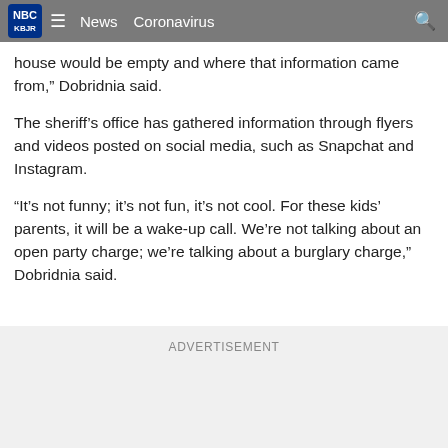KBJR 6 | News  Coronavirus
house would be empty and where that information came from,” Dobridnia said.
The sheriff’s office has gathered information through flyers and videos posted on social media, such as Snapchat and Instagram.
“It’s not funny; it’s not fun, it’s not cool. For these kids’ parents, it will be a wake-up call. We’re not talking about an open party charge; we’re talking about a burglary charge,” Dobridnia said.
ADVERTISEMENT